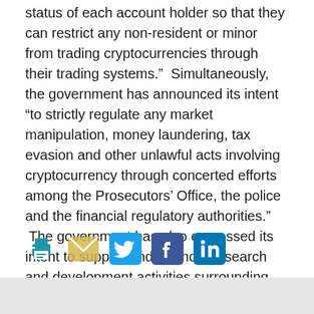status of each account holder so that they can restrict any non-resident or minor from trading cryptocurrencies through their trading systems.”  Simultaneously, the government has announced its intent “to strictly regulate any market manipulation, money laundering, tax evasion and other unlawful acts involving cryptocurrency through concerted efforts among the Prosecutors’ Office, the police and the financial regulatory authorities.”  The government has also expressed its intent to support and promote research and development activities surrounding blockchain technologies.  See Reuters
[Figure (other): Row of social sharing icons: print (blue printer), email (yellow envelope), Twitter (blue bird icon), Facebook (blue f icon), LinkedIn (blue in icon)]